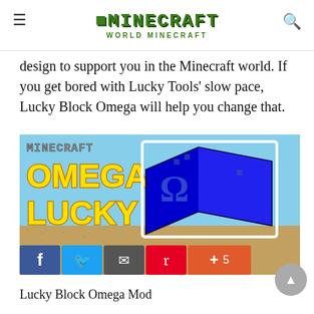MINECRAFT WORLD MINECRAFT
design to support you in the Minecraft world. If you get bored with Lucky Tools' slow pace, Lucky Block Omega will help you change that.
[Figure (screenshot): Minecraft Omega Lucky Block Mod promotional image showing 'MINECRAFT OMEGA LUCKY' text in yellow with a blue Lucky Block cube on a sandy background, with social sharing buttons (Facebook, Twitter, Email, Pinterest, +5) below.]
Lucky Block Omega Mod